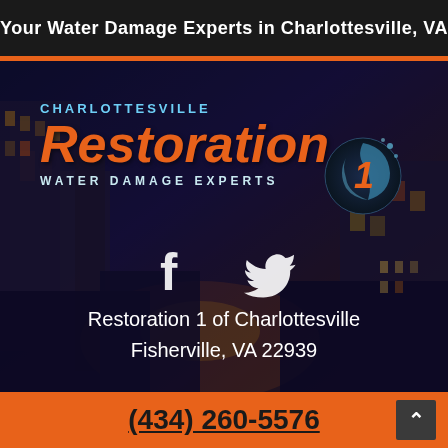Your Water Damage Experts in Charlottesville, VA
[Figure (logo): Charlottesville Restoration 1 Water Damage Experts logo with city background, Facebook and Twitter icons, address: Restoration 1 of Charlottesville, Fisherville, VA 22939]
Restoration 1 of Charlottesville
Fisherville, VA 22939
(434) 260-5576